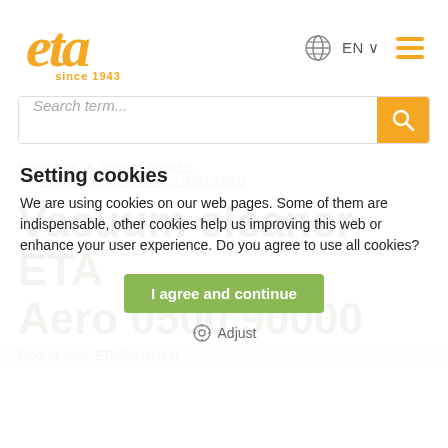[Figure (logo): eta logo with cursive orange text and 'since 1943' subtitle]
[Figure (screenshot): Search bar with placeholder 'Search term...' and orange search button]
Setting cookies
We are using cookies on our web pages. Some of them are indispensable, other cookies help us improving this web or enhance your user experience. Do you agree to use all cookies?
I agree and continue
Adjust
Home care * Vacuum cleaners * Vacuum cleaner ETA Aero 0500 90000
Vacuum cleaner ETA Aero 0500 90000
Product code: ETA050090000